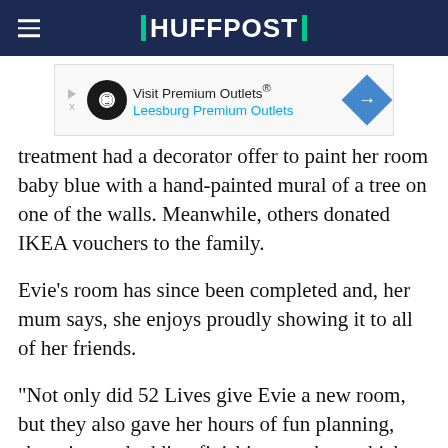HUFFPOST
[Figure (other): Advertisement banner: Visit Premium Outlets® Leesburg Premium Outlets]
treatment  had a decorator offer to paint her room baby blue with a hand-painted mural of a tree on one of the walls. Meanwhile, others donated IKEA vouchers to the family.
Evie's room has since been completed and, her mum says, she enjoys proudly showing it to all of her friends.
"Not only did 52 Lives give Evie a new room, but they also gave her hours of fun planning, shopping and adding finishing touches, which has helped her through her treatment," says Shallom